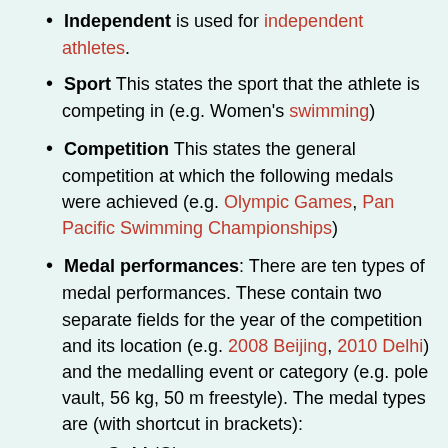Independent is used for independent athletes.
Sport This states the sport that the athlete is competing in (e.g. Women's swimming)
Competition This states the general competition at which the following medals were achieved (e.g. Olympic Games, Pan Pacific Swimming Championships)
Medal performances: There are ten types of medal performances. These contain two separate fields for the year of the competition and its location (e.g. 2008 Beijing, 2010 Delhi) and the medalling event or category (e.g. pole vault, 56 kg, 50 m freestyle). The medal types are (with shortcut in brackets):
Gold (G)